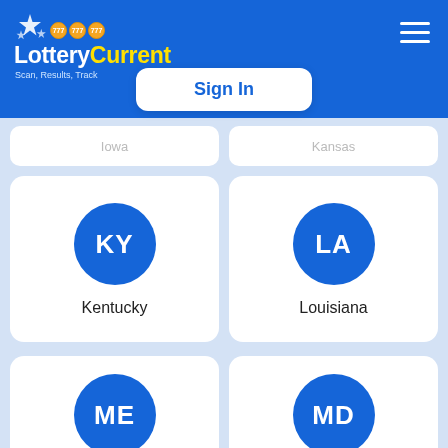LotteryCurrent — Scan, Results, Track
Sign In
Iowa / Kansas (partial, cropped)
Kentucky
Louisiana
Maine
Maryland